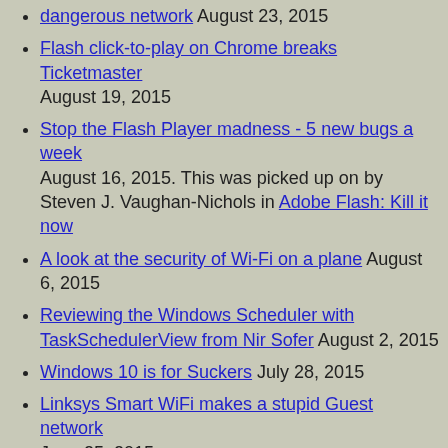dangerous network August 23, 2015
Flash click-to-play on Chrome breaks Ticketmaster August 19, 2015
Stop the Flash Player madness - 5 new bugs a week August 16, 2015. This was picked up on by Steven J. Vaughan-Nichols in Adobe Flash: Kill it now
A look at the security of Wi-Fi on a plane August 6, 2015
Reviewing the Windows Scheduler with TaskSchedulerView from Nir Sofer August 2, 2015
Windows 10 is for Suckers July 28, 2015
Linksys Smart WiFi makes a stupid Guest network June 25, 2015
The NetUSB router flaw Part 2 - Detection and Mitigation June 20, 2015
What most people don't know about the NetUSB